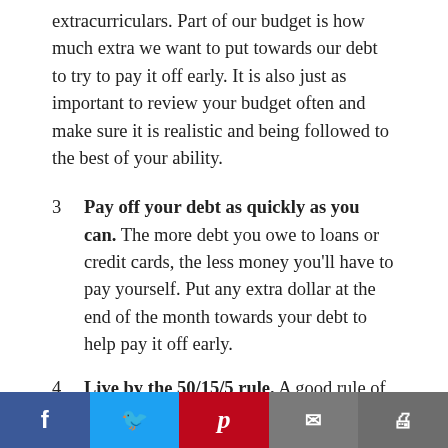extracurriculars. Part of our budget is how much extra we want to put towards our debt to try to pay it off early. It is also just as important to review your budget often and make sure it is realistic and being followed to the best of your ability.
3. Pay off your debt as quickly as you can. The more debt you owe to loans or credit cards, the less money you'll have to pay yourself. Put any extra dollar at the end of the month towards your debt to help pay it off early.
4. Live by the 50/15/5 rule. A good rule of
Facebook Twitter Pinterest Email Print